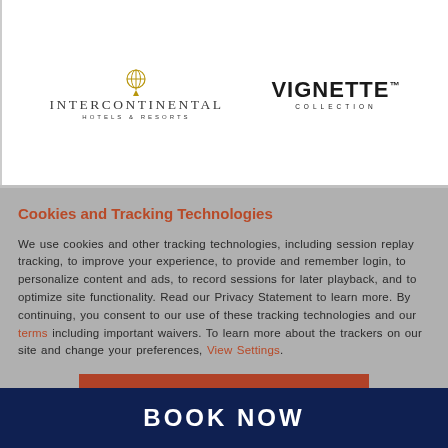[Figure (logo): InterContinental Hotels & Resorts logo with golden globe icon on left, and VIGNETTE Collection logo in bold black on right]
Cookies and Tracking Technologies
We use cookies and other tracking technologies, including session replay tracking, to improve your experience, to provide and remember login, to personalize content and ads, to record sessions for later playback, and to optimize site functionality. Read our Privacy Statement to learn more. By continuing, you consent to our use of these tracking technologies and our terms including important waivers. To learn more about the trackers on our site and change your preferences, View Settings.
ACCEPT
BOOK NOW